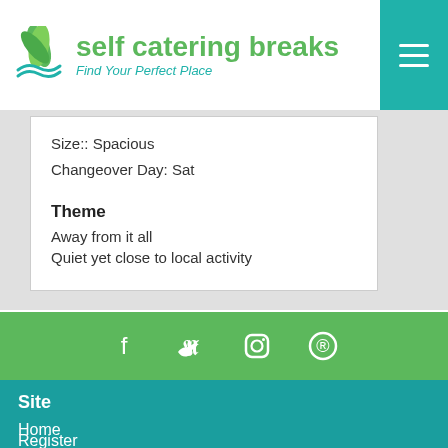self catering breaks — Find Your Perfect Place
Size:: Spacious
Changeover Day: Sat
Theme
Away from it all
Quiet yet close to local activity
[Figure (infographic): Social media icons row: Facebook, Twitter, Instagram, Pinterest on green background]
Site
Home
Register